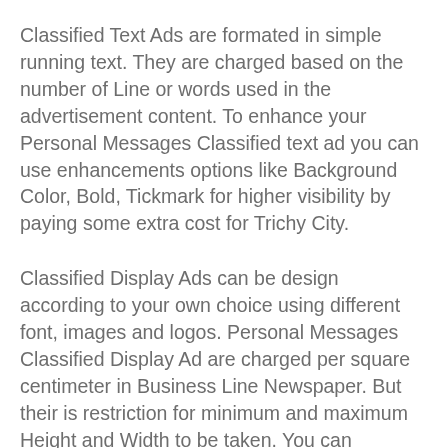Classified Text Ads are formated in simple running text. They are charged based on the number of Line or words used in the advertisement content. To enhance your Personal Messages Classified text ad you can use enhancements options like Background Color, Bold, Tickmark for higher visibility by paying some extra cost for Trichy City.
Classified Display Ads can be design according to your own choice using different font, images and logos. Personal Messages Classified Display Ad are charged per square centimeter in Business Line Newspaper. But their is restriction for minimum and maximum Height and Width to be taken. You can